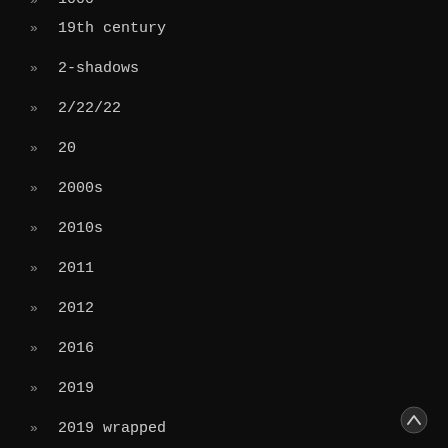» 19th century
» 2-shadows
» 2/22/22
» 20
» 2000s
» 2010s
» 2011
» 2012
» 2016
» 2019
» 2019 wrapped
» 2020
» 2020 costumes
» 2020 election
» 2020 memes
» 2020 plague
» 2020 tweets
» 2021
» 2021 memes
» 2021 tweets
» 2022
» 2022 memes
» 2022-oscars
» 2023
» 2020